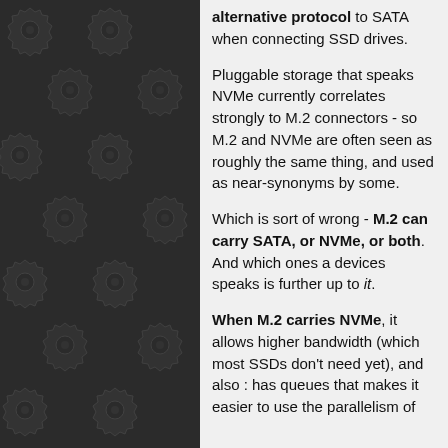[Figure (illustration): Dark background panel with repeating gear/cog pattern in dark grey tones, arranged in a grid-like tiling]
alternative protocol to SATA when connecting SSD drives.
Pluggable storage that speaks NVMe currently correlates strongly to M.2 connectors - so M.2 and NVMe are often seen as roughly the same thing, and used as near-synonyms by some.
Which is sort of wrong - M.2 can carry SATA, or NVMe, or both. And which ones a devices speaks is further up to it.
When M.2 carries NVMe, it allows higher bandwidth (which most SSDs don't need yet), and also : has queues that makes it easier to use the parallelism of